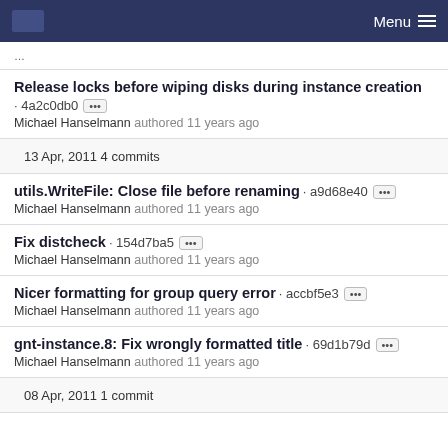Menu
Release locks before wiping disks during instance creation · 4a2c0db0 · Michael Hanselmann authored 11 years ago
13 Apr, 2011 4 commits
utils.WriteFile: Close file before renaming · a9d68e40 · Michael Hanselmann authored 11 years ago
Fix distcheck · 154d7ba5 · Michael Hanselmann authored 11 years ago
Nicer formatting for group query error · accbf5e3 · Michael Hanselmann authored 11 years ago
gnt-instance.8: Fix wrongly formatted title · 69d1b79d · Michael Hanselmann authored 11 years ago
08 Apr, 2011 1 commit